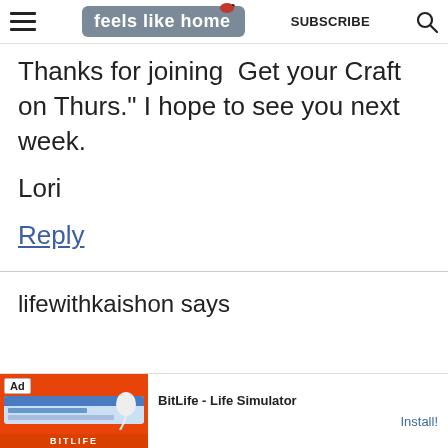feels like home — SUBSCRIBE
Thanks for joining  Get your Craft on Thurs." I hope to see you next week.
Lori
Reply
lifewithkaishon says
[Figure (screenshot): Ad banner: BitLife - Life Simulator with Install button]